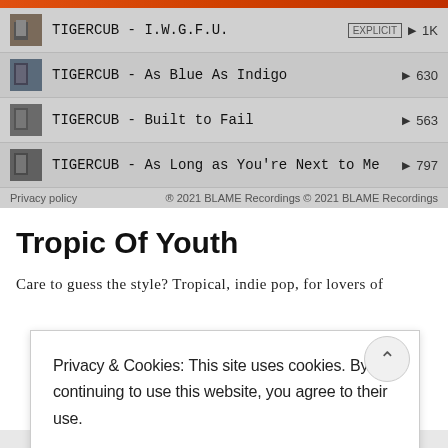[Figure (screenshot): Music player widget showing TIGERCUB tracks: I.W.G.F.U. (EXPLICIT, 1K plays), As Blue As Indigo (630 plays), Built to Fail (563 plays), As Long as You're Next to Me (797 plays)]
Privacy policy   ® 2021 BLAME Recordings © 2021 BLAME Recordings
Tropic Of Youth
Care to guess the style? Tropical, indie pop, for lovers of
Privacy & Cookies: This site uses cookies. By continuing to use this website, you agree to their use. To find out more, including how to control cookies, see here: Our Cookie Policy
CLOSE AND ACCEPT